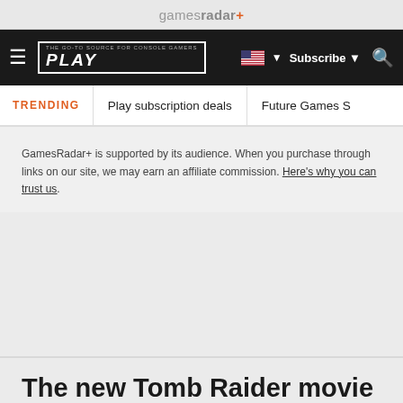gamesradar+
PLAY | Subscribe | Search
TRENDING  Play subscription deals  Future Games S
GamesRadar+ is supported by its audience. When you purchase through links on our site, we may earn an affiliate commission. Here's why you can trust us.
The new Tomb Raider movie starts